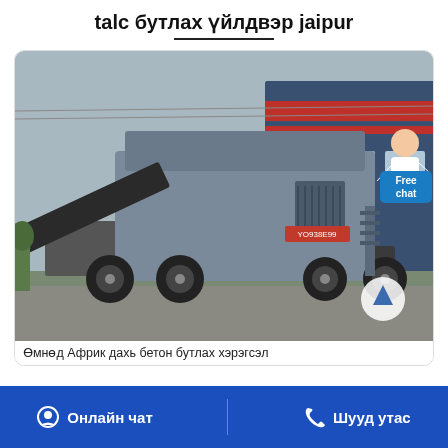talc бутлах үйлдвэр jaipur
[Figure (photo): A large mobile crushing machine (jaw crusher) mounted on a truck, with a blue industrial building in the background. Label YO938E99 visible on machine.]
Өмнөд Африк дахь бетон бутлах хэрэгсэл
Онлайн чат
Шууд утас